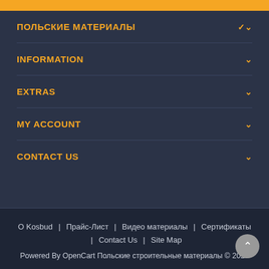ПОЛЬСКИЕ МАТЕРИАЛЫ
INFORMATION
EXTRAS
MY ACCOUNT
CONTACT US
О Kosbud | Прайс‑Лист | Видео материалы | Сертификаты | Contact Us | Site Map
Powered By OpenCart Польские строительные материалы © 2022